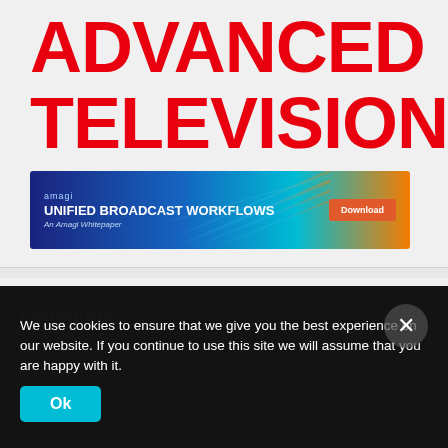ADVANCED TELEVISION
[Figure (infographic): Amagi advertisement banner: 'UNIFIED BROADCAST WORKFLOWS - An Amagi Whitepaper' with a Download button, blue and orange gradient background with light streak graphics.]
[Figure (infographic): Red rounded rectangle hamburger menu button with three white horizontal lines.]
communic
March 12, 2015
We use cookies to ensure that we give you the best experience on our website. If you continue to use this site we will assume that you are happy with it.
Ok